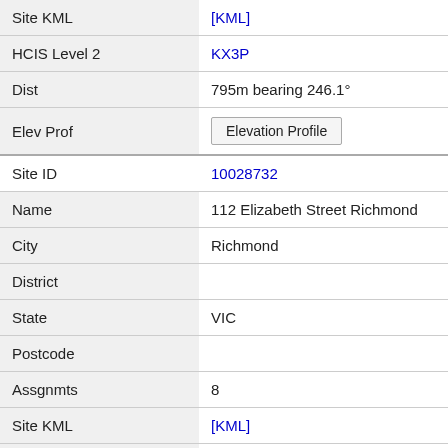| Field | Value |
| --- | --- |
| Site KML | [KML] |
| HCIS Level 2 | KX3P |
| Dist | 795m bearing 246.1° |
| Elev Prof | Elevation Profile |
| Site ID | 10028732 |
| Name | 112 Elizabeth Street Richmond |
| City | Richmond |
| District |  |
| State | VIC |
| Postcode |  |
| Assgnmts | 8 |
| Site KML | [KML] |
| HCIS Level 2 | KX3P |
| Dist | 795m bearing 117.0° |
| Elev Prof | Elevation Profile |
| Site ID | 10004174 |